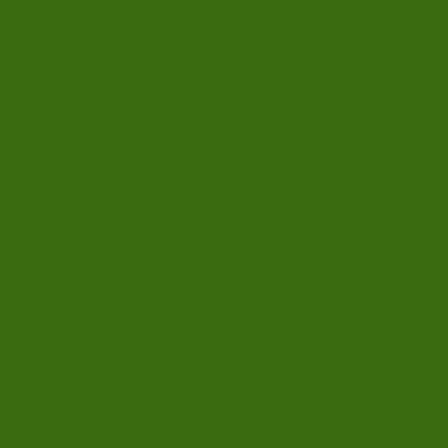Combine tomatoes, salt and pepper to and toss to combine.
Before serving, add on a platter. Arrange leaves. Serve with
You might enjoy t
Mango Salsa from
Pomegranate Sals
Salsa and Shrimp
Roasted Jalapeno
Jan 2, 2010 6:45:00
Com